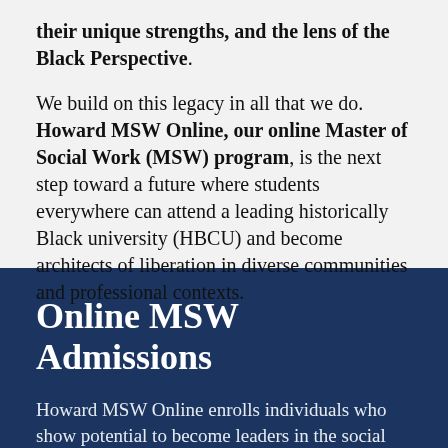their unique strengths, and the lens of the Black Perspective.
We build on this legacy in all that we do. Howard MSW Online, our online Master of Social Work (MSW) program, is the next step toward a future where students everywhere can attend a leading historically Black university (HBCU) and become architects of liberation in diverse communities and professional contexts.
Online MSW Admissions
Howard MSW Online enrolls individuals who show potential to become leaders in the social work profession. We maintain the same admissions